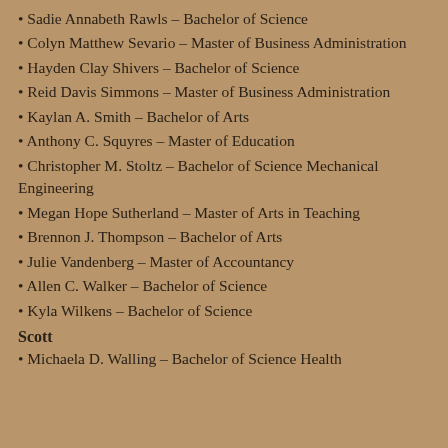Sadie Annabeth Rawls – Bachelor of Science
Colyn Matthew Sevario – Master of Business Administration
Hayden Clay Shivers – Bachelor of Science
Reid Davis Simmons – Master of Business Administration
Kaylan A. Smith – Bachelor of Arts
Anthony C. Squyres – Master of Education
Christopher M. Stoltz – Bachelor of Science Mechanical Engineering
Megan Hope Sutherland – Master of Arts in Teaching
Brennon J. Thompson – Bachelor of Arts
Julie Vandenberg – Master of Accountancy
Allen C. Walker – Bachelor of Science
Kyla Wilkens – Bachelor of Science
Scott
Michaela D. Walling – Bachelor of Science Health